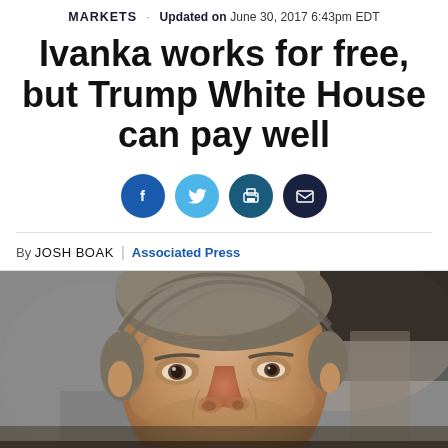MARKETS · Updated on June 30, 2017 6:43pm EDT
Ivanka works for free, but Trump White House can pay well
[Figure (illustration): Four social media/share icon buttons (Facebook, Twitter, Print, Email) as dark blue and teal circles]
By JOSH BOAK | Associated Press
[Figure (photo): Close-up photograph of a middle-aged man with gray-brown hair, looking slightly to the right, with a blurred background]